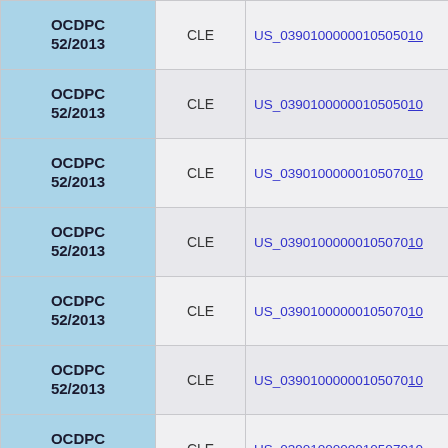| Code | Type | ID |
| --- | --- | --- |
| OCDPC 52/2013 | CLE | US_039010000001050501... |
| OCDPC 52/2013 | CLE | US_039010000001050501... |
| OCDPC 52/2013 | CLE | US_039010000001050701... |
| OCDPC 52/2013 | CLE | US_039010000001050701... |
| OCDPC 52/2013 | CLE | US_039010000001050701... |
| OCDPC 52/2013 | CLE | US_039010000001050701... |
| OCDPC 52/2013 | CLE | US_039010000001050701... |
| OCDPC 52/2013 | CLE | US_039010000001051400... |